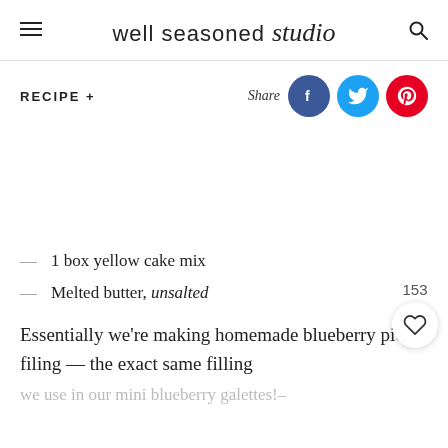well seasoned studio
RECIPE +
Share
1 box yellow cake mix
Melted butter, unsalted
Essentially we're making homemade blueberry pie filing — the exact same filling
we use in our mini blueberry galettes!–